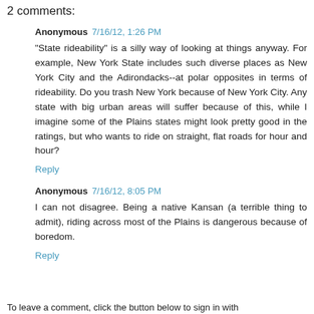2 comments:
Anonymous 7/16/12, 1:26 PM
"State rideability" is a silly way of looking at things anyway. For example, New York State includes such diverse places as New York City and the Adirondacks--at polar opposites in terms of rideability. Do you trash New York because of New York City. Any state with big urban areas will suffer because of this, while I imagine some of the Plains states might look pretty good in the ratings, but who wants to ride on straight, flat roads for hour and hour?
Reply
Anonymous 7/16/12, 8:05 PM
I can not disagree. Being a native Kansan (a terrible thing to admit), riding across most of the Plains is dangerous because of boredom.
Reply
To leave a comment, click the button below to sign in with